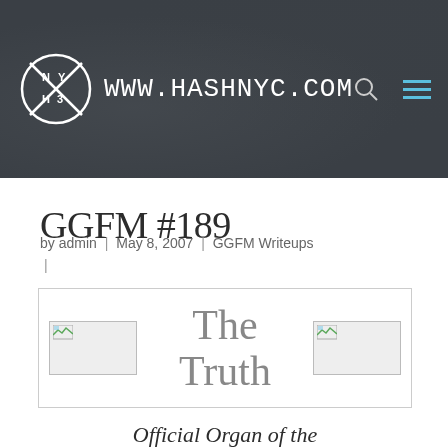www.HASHNYC.COM
GGFM #189
by admin | May 8, 2007 | GGFM Writeups |
[Figure (other): The Truth newsletter header image with two photo placeholders flanking the text 'The Truth']
Official Organ of the Greater Gotham Full Moon